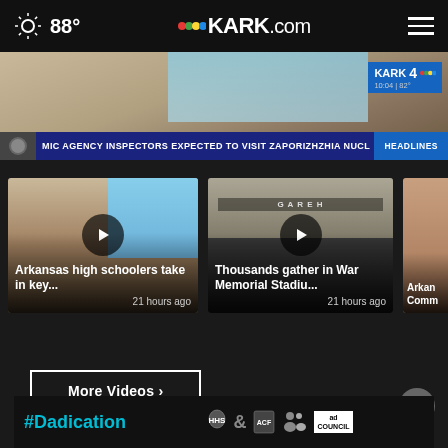88° KARK.com
[Figure (screenshot): KARK 4 NBC news broadcast still with stone statue, ticker reading: MIC AGENCY INSPECTORS EXPECTED TO VISIT ZAPORIZHZHIA NUCL, HEADLINES button]
[Figure (screenshot): Video thumbnail: Arkansas high schoolers take in key... — 21 hours ago]
[Figure (screenshot): Video thumbnail: Thousands gather in War Memorial Stadiu... — 21 hours ago]
[Figure (screenshot): Partial video thumbnail: Arkan Comm...]
More Videos ›
[Figure (infographic): #Dadication ad banner with HHS, ACF, National Responsible Fatherhood Clearinghouse, and Ad Council logos]